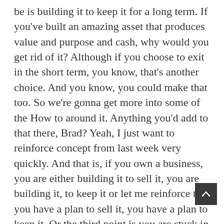be is building it to keep it for a long term. If you've built an amazing asset that produces value and purpose and cash, why would you get rid of it? Although if you choose to exit in the short term, you know, that's another choice. And you know, you could make that too. So we're gonna get more into some of the How to around it. Anything you'd add to that there, Brad? Yeah, I just want to reinforce concept from last week very quickly. And that is, if you own a business, you are either building it to sell it, you are building it, to keep it or let me reinforce that you have a plan to sell it, you have a plan to keep it. Or the third point is you are stuck in the mediocre middle. And so many people are stuck in the mediocre middle. Last week, we spoke about the what and this week, it's really about how do you understand and how do you? What do you do about that? So yeah, let's, let's jump into it. So like we spoke about not a few moments ago, if the higher that you go up, the